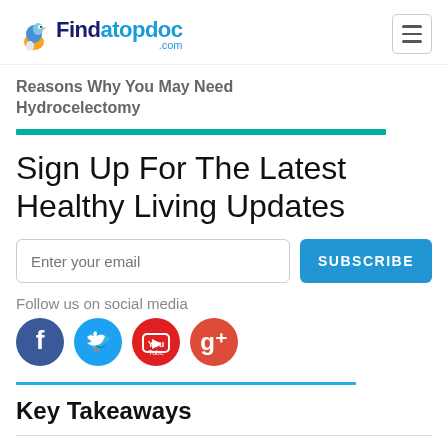Findatopdoc.com
Reasons Why You May Need Hydrocelectomy
Sign Up For The Latest Healthy Living Updates
Follow us on social media
Key Takeaways